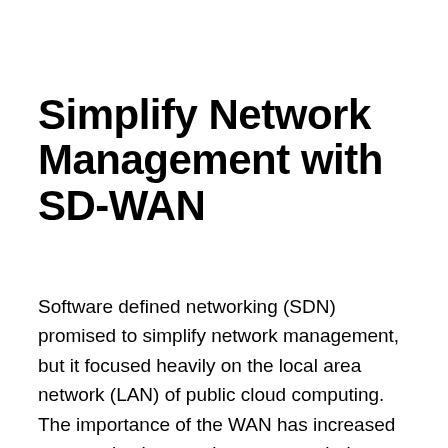Simplify Network Management with SD-WAN
Software defined networking (SDN) promised to simplify network management, but it focused heavily on the local area network (LAN) of public cloud computing. The importance of the WAN has increased as organizations seek to connect their private operations — or private cloud — with the public cloud infrastructure they are increasingly using to reduce costs and deploy